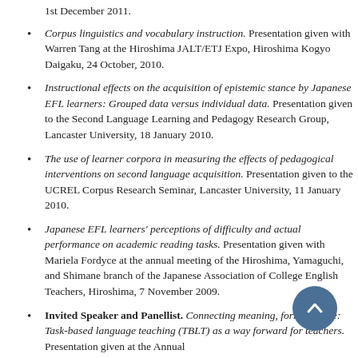1st December 2011.
Corpus linguistics and vocabulary instruction. Presentation given with Warren Tang at the Hiroshima JALT/ETJ Expo, Hiroshima Kogyo Daigaku, 24 October, 2010.
Instructional effects on the acquisition of epistemic stance by Japanese EFL learners: Grouped data versus individual data. Presentation given to the Second Language Learning and Pedagogy Research Group, Lancaster University, 18 January 2010.
The use of learner corpora in measuring the effects of pedagogical interventions on second language acquisition. Presentation given to the UCREL Corpus Research Seminar, Lancaster University, 11 January 2010.
Japanese EFL learners' perceptions of difficulty and actual performance on academic reading tasks. Presentation given with Mariela Fordyce at the annual meeting of the Hiroshima, Yamaguchi, and Shimane branch of the Japanese Association of College English Teachers, Hiroshima, 7 November 2009.
Invited Speaker and Panellist. Connecting meaning, form and use: Task-based language teaching (TBLT) as a way forward for teachers. Presentation given at the Annual